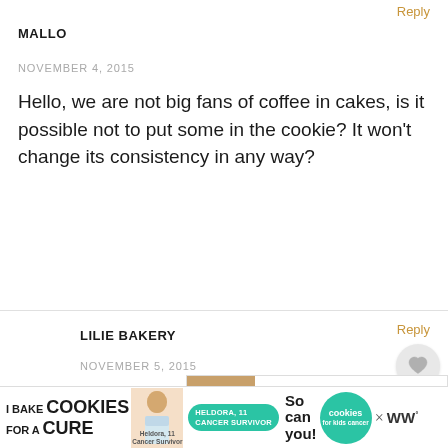Reply
MALLO
NOVEMBER 4, 2015
Hello, we are not big fans of coffee in cakes, is it possible not to put some in the cookie? It won't change its consistency in any way?
Reply
LILIE BAKERY
NOVEMBER 5, 2015
Hello Mallory, we can remove the won't change the consistency, just the nutty-coffee flavor (which I personally
[Figure (other): WHAT'S NEXT arrow with thumbnail image of a dessert (Coconut & Chocolate...)]
[Figure (infographic): Ad banner: I Bake COOKIES For A CURE - Heldora, 11 Cancer Survivor - So can you! - cookies for kids cancer - close button and WW logo]